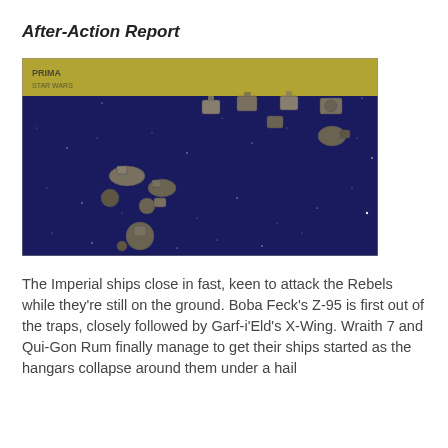After-Action Report
[Figure (photo): A Star Wars X-Wing miniatures game in progress on a dark blue starfield gaming mat. Several miniature spaceships are positioned across the board. In the background, game accessories and a box are visible.]
The Imperial ships close in fast, keen to attack the Rebels while they're still on the ground. Boba Feck's Z-95 is first out of the traps, closely followed by Garf-i'Eld's X-Wing. Wraith 7 and Qui-Gon Rum finally manage to get their ships started as the hangars collapse around them under a hail